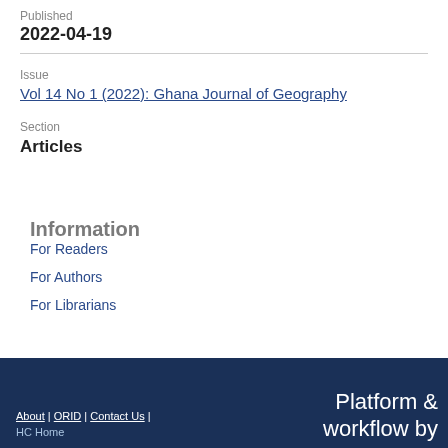Published
2022-04-19
Issue
Vol 14 No 1 (2022): Ghana Journal of Geography
Section
Articles
Information
For Readers
For Authors
For Librarians
About | ORID | Contact Us | HC Home   Platform & workflow by